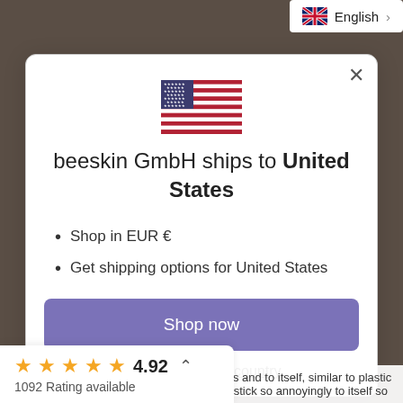[Figure (screenshot): Top bar with UK flag and English language selector with chevron]
[Figure (illustration): US flag icon centered in modal dialog]
beeskin GmbH ships to United States
Shop in EUR €
Get shipping options for United States
Shop now
Change shipping country
[Figure (infographic): Rating bar showing 5 gold stars, 4.92 rating, chevron up and 1092 Rating available text]
aces and to itself, similar to plastic not stick so annoyingly to itself so